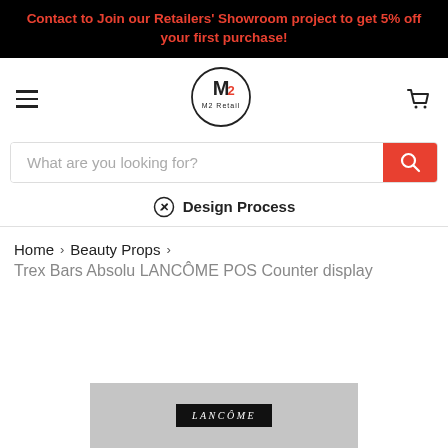Contact to Join our Retailers' Showroom project to get 5% off your first purchase!
[Figure (logo): M2 Retail logo - circular logo with M2 text and 'M2 Retail' written around the circle]
What are you looking for?
Design Process
Home > Beauty Props > Trex Bars Absolu LANCÔME POS Counter display
[Figure (photo): Partial product image showing bottom of a LANCÔME POS counter display with gray background and LANCÔME text visible]